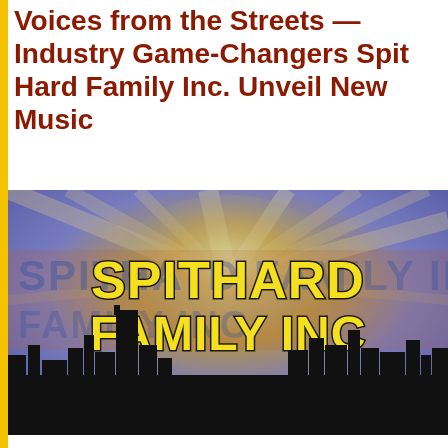Voices from the Streets — Industry Game-Changers Spit Hard Family Inc. Unveil New Music
[Figure (logo): Spit Hard Family Inc. logo — stylized graffiti-style text 'SPITHARD FAMILY INC' in yellow with black outline over a cityscape silhouette with colorful sunburst background]
Taking Hip Hop and Rap back to its unique flair, Spit Hard Family Inc. present breathtaking original musical compositions